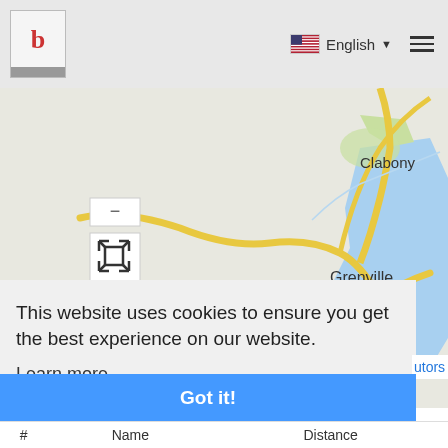[Figure (screenshot): Website navigation bar with a 'b' logo on the left, an American flag with 'English' language dropdown in the center-right, and a hamburger menu icon on the right, on a light gray background.]
[Figure (map): Google Maps-style map showing locations including Clabony, Grenville, Nianganfoix, Harford, Birchgrove, and Soubise. Yellow roads and blue water body visible on the right side. Map controls (minus button and fullscreen icon) visible on the left side.]
This website uses cookies to ensure you get the best experience on our website.
Learn more
Got it!
utors
| # | Name | Distance |
| --- | --- | --- |